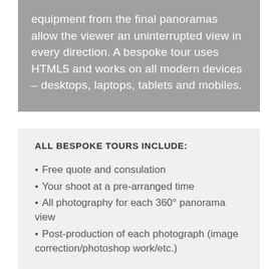equipment from the final panoramas allow the viewer an uninterrupted view in every direction. A bespoke tour uses HTML5 and works on all modern devices – desktops, laptops, tablets and mobiles.
ALL BESPOKE TOURS INCLUDE:
Free quote and consulation
Your shoot at a pre-arranged time
All photography for each 360° panorama view
Post-production of each photograph (image correction/photoshop work/etc.)